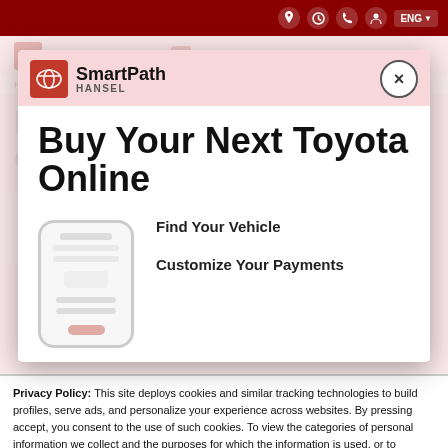Top navigation bar with dark red background, icons, and ENG language selector
[Figure (screenshot): Modal popup showing SmartPath Toyota branding with close button, overlaid on dealership website background]
Buy Your Next Toyota Online
Find Your Vehicle
Customize Your Payments
Privacy Policy: This site deploys cookies and similar tracking technologies to build profiles, serve ads, and personalize your experience across websites. By pressing accept, you consent to the use of such cookies. To view the categories of personal information we collect and the purposes for which the information is used, or to exercise your rights under the California Consumer Privacy Act (CCPA), click here. Note that while we do not sell personal information for monetary value, we disclose personal information to third parties, such as vehicle manufacturers, in such a way that may be considered a "sale" of personal information under the CCPA. To direct us to stop the sale of your personal information, or to re-access these settings or disclosures at anytime, click the following icon or link: